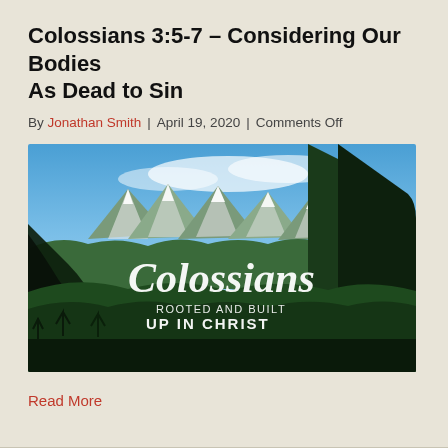Colossians 3:5-7 – Considering Our Bodies As Dead to Sin
By Jonathan Smith | April 19, 2020 | Comments Off
[Figure (photo): Mountain landscape with snow-capped peaks and dense green forest in foreground; white script text 'Colossians' over the image and smaller uppercase text 'ROOTED AND BUILT UP IN CHRIST']
Read More